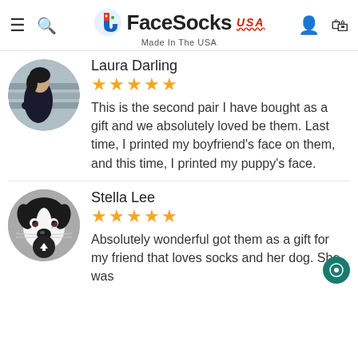FaceSocks USA — Made In The USA
Laura Darling
★★★★★
This is the second pair I have bought as a gift and we absolutely loved be them. Last time, I printed my boyfriend's face on them, and this time, I printed my puppy's face.
Stella Lee
★★★★★
Absolutely wonderful got them as a gift for my friend that loves socks and her dog. She was